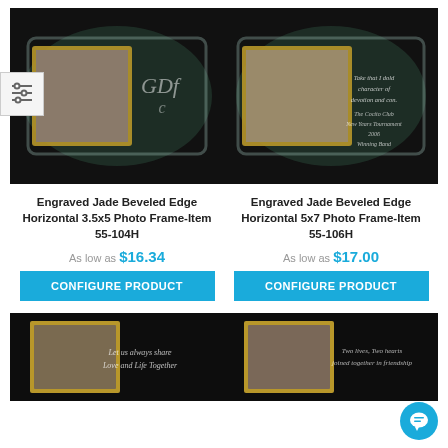[Figure (photo): Engraved jade beveled edge horizontal photo frame with 3.5x5 photo slot, black background, gold border, monogram engraving on right side]
[Figure (photo): Engraved jade beveled edge horizontal photo frame with 5x7 photo slot, black background, engraved text on right side]
Engraved Jade Beveled Edge Horizontal 3.5x5 Photo Frame-Item 55-104H
As low as $16.34
CONFIGURE PRODUCT
Engraved Jade Beveled Edge Horizontal 5x7 Photo Frame-Item 55-106H
As low as $17.00
CONFIGURE PRODUCT
[Figure (photo): Bottom left photo frame product, black background with script text 'Let us always share Love and Life Together']
[Figure (photo): Bottom right photo frame product, black background with script text]